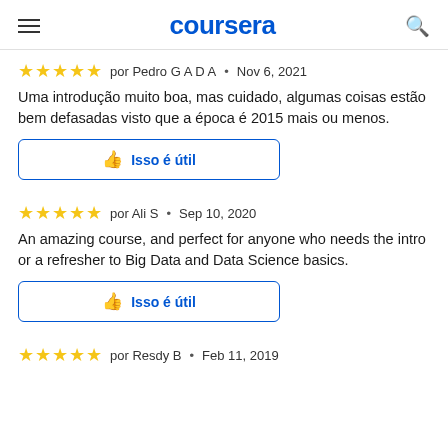coursera
★★★★★  por Pedro G A D A  •  Nov 6, 2021
Uma introdução muito boa, mas cuidado, algumas coisas estão bem defasadas visto que a época é 2015 mais ou menos.
Isso é útil
★★★★★  por Ali S  •  Sep 10, 2020
An amazing course, and perfect for anyone who needs the intro or a refresher to Big Data and Data Science basics.
Isso é útil
★★★★★  por Resdy B  •  Feb 11, 2019